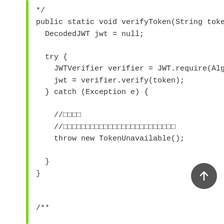*/
public static void verifyToken(String token, Str
  DecodedJWT jwt = null;
  try {
    JWTVerifier verifier = JWT.require(Algorithmm
    jwt = verifier.verify(token);
  } catch (Exception e) {
    //□□□□
    //□□□□□□□□□□□□□□□□□□□□□□□□□
    throw new TokenUnavailable();
  }
}

/**

* □□□□□□